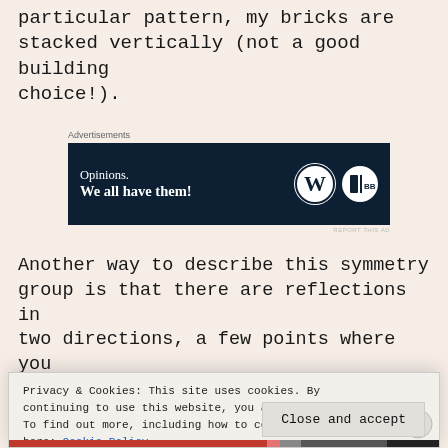particular pattern, my bricks are stacked vertically (not a good building choice!).
[Figure (other): Advertisement banner with dark navy background showing 'Opinions. We all have them!' with WordPress and another logo]
Another way to describe this symmetry group is that there are reflections in two directions, a few points where you can rotate the pattern 180° degrees
Privacy & Cookies: This site uses cookies. By continuing to use this website, you agree to their use. To find out more, including how to control cookies, see here: Cookie Policy
Close and accept